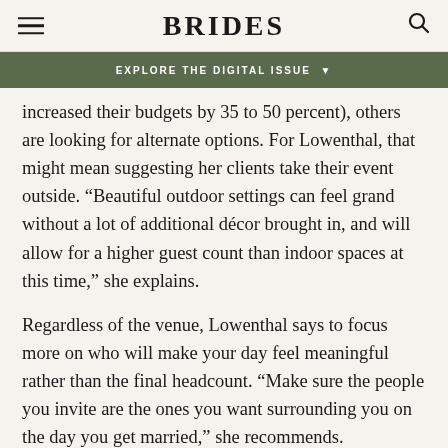BRIDES
EXPLORE THE DIGITAL ISSUE
increased their budgets by 35 to 50 percent), others are looking for alternate options. For Lowenthal, that might mean suggesting her clients take their event outside. “Beautiful outdoor settings can feel grand without a lot of additional décor brought in, and will allow for a higher guest count than indoor spaces at this time,” she explains.
Regardless of the venue, Lowenthal says to focus more on who will make your day feel meaningful rather than the final headcount. “Make sure the people you invite are the ones you want surrounding you on the day you get married,” she recommends.